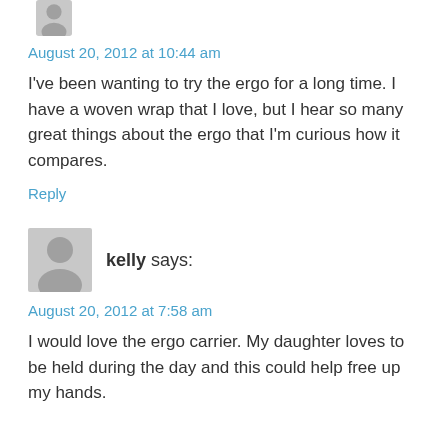[Figure (illustration): Grey avatar silhouette icon (partial, cropped at top)]
August 20, 2012 at 10:44 am
I've been wanting to try the ergo for a long time. I have a woven wrap that I love, but I hear so many great things about the ergo that I'm curious how it compares.
Reply
[Figure (illustration): Grey avatar silhouette icon]
kelly says:
August 20, 2012 at 7:58 am
I would love the ergo carrier. My daughter loves to be held during the day and this could help free up my hands.